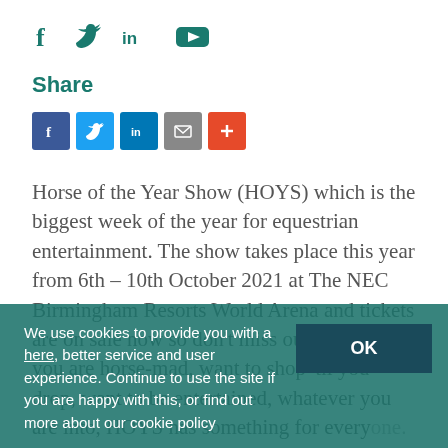[Figure (other): Social media icons row: Facebook (f), Twitter (bird), LinkedIn (in), YouTube (play button) in teal color]
Share
[Figure (other): Share buttons: Facebook (blue), Twitter (light blue), LinkedIn (dark blue), Email (grey), More/Plus (red-orange)]
Horse of the Year Show (HOYS) which is the biggest week of the year for equestrian entertainment. The show takes place this year from 6th – 10th October 2021 at The NEC Birmingham Resorts World Arena and tickets are on sale now so don't miss out. Whether you are horse-mad, want to shop 'til you drop, want to be entertained, whatever you are into, HOYS has something for everyone. Horse of the Year Show really is the ultimate celebration of the horse;
We use cookies to provide you with a better service and user experience. Continue to use the site if you are happy with this, or find out more about our cookie policy
here.